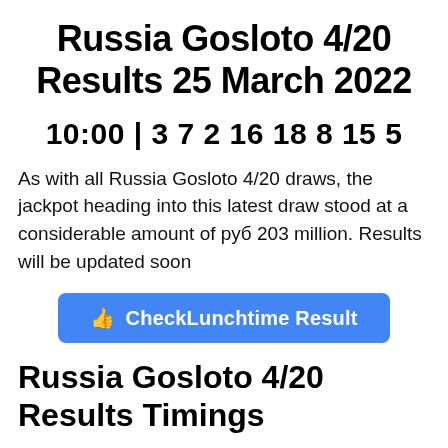Russia Gosloto 4/20 Results 25 March 2022
10:00 | 3 7 2 16 18 8 15 5
As with all Russia Gosloto 4/20 draws, the jackpot heading into this latest draw stood at a considerable amount of руб 203 million. Results will be updated soon
[Figure (other): Blue button labeled 'CheckLunchtime Result' with a thumbs-up icon]
Russia Gosloto 4/20 Results Timings
Know the Russia Gosloto 4/20 Results Timing here. Each of these Gosloto lotteries has a designated time during which draws are drawn. The Russia Gosloto 4/20...